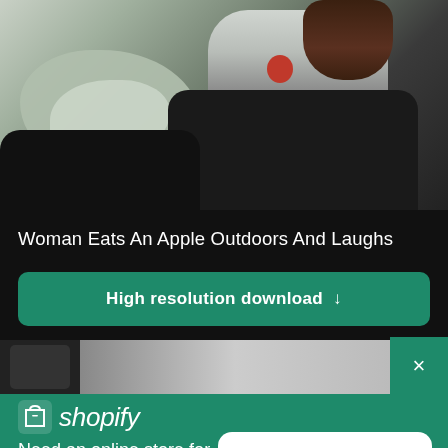[Figure (photo): Photo of a woman sitting outdoors on rocks, wearing athletic clothes, holding a red apple and laughing. Only lower body and torso visible.]
Woman Eats An Apple Outdoors And Laughs
High resolution download ↓
[Figure (photo): Partial photo of a person, cropped, visible in lower portion of page behind the Shopify popup overlay.]
[Figure (logo): Shopify logo with shopping bag icon and italic 'shopify' text in white on green background.]
Need an online store for your business?
Start free trial